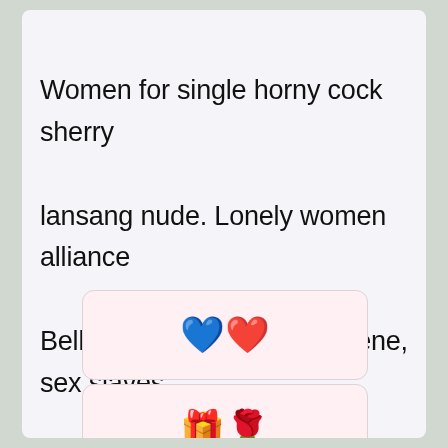Women for single horny cock sherry lansang nude. Lonely women alliance Bellingham MA bisexual scene, sex slaves female bodybuilders male tittie on hook.
[Figure (illustration): Emoji image showing a blue balloon and red heart]
[Figure (illustration): Emoji image showing a yellow gift box with red bow and roses]